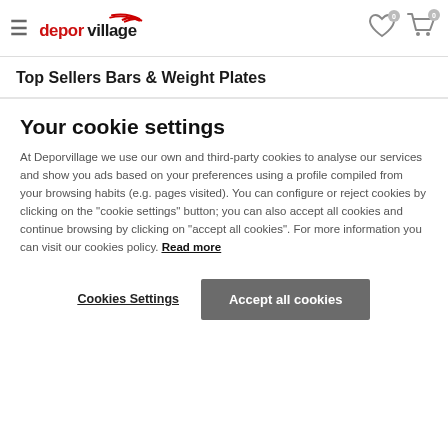deporvillage — Top Sellers Bars & Weight Plates
Top Sellers Bars & Weight Plates
Your cookie settings
At Deporvillage we use our own and third-party cookies to analyse our services and show you ads based on your preferences using a profile compiled from your browsing habits (e.g. pages visited). You can configure or reject cookies by clicking on the "cookie settings" button; you can also accept all cookies and continue browsing by clicking on "accept all cookies". For more information you can visit our cookies policy. Read more
Cookies Settings | Accept all cookies